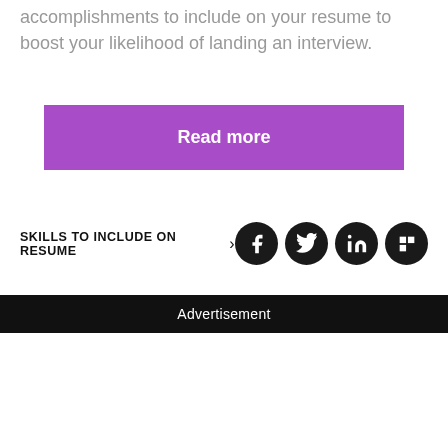accomplishments to include on your resume to boost your likelihood of landing an interview.
[Figure (other): Purple 'Read more' button]
SKILLS TO INCLUDE ON RESUME ›
[Figure (other): Social media icons: Facebook, Twitter, LinkedIn, Flipboard]
Advertisement